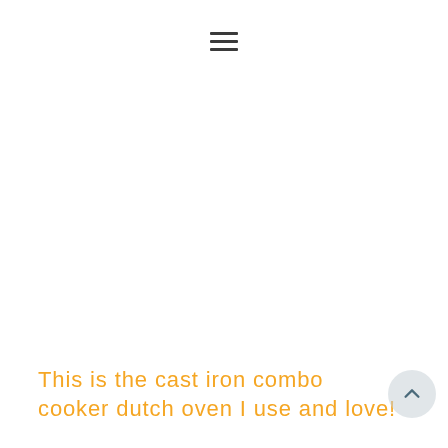[Figure (other): Hamburger/menu icon (three horizontal lines) centered near the top of the page]
This is the cast iron combo cooker dutch oven I use and love!